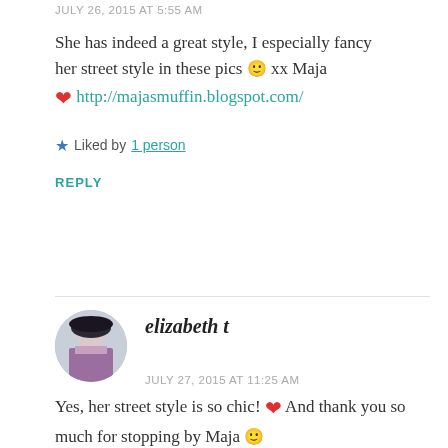JULY 26, 2015 AT 5:55 AM
She has indeed a great style, I especially fancy her street style in these pics 🙂 xx Maja ❤ http://majasmuffin.blogspot.com/
★ Liked by 1 person
REPLY
elizabeth t
JULY 27, 2015 AT 11:25 AM
Yes, her street style is so chic! ❤ And thank you so much for stopping by Maja 🙂